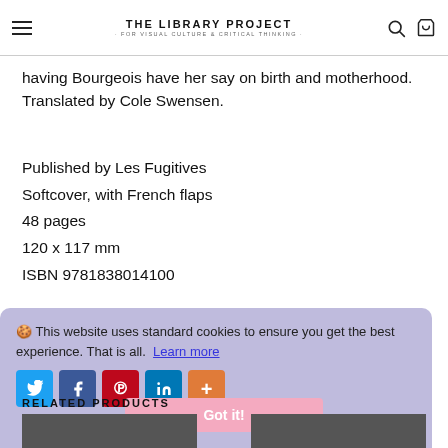THE LIBRARY PROJECT · FOR VISUAL CULTURE & CRITICAL THINKING
having Bourgeois have her say on birth and motherhood. Translated by Cole Swensen.
Published by Les Fugitives
Softcover, with French flaps
48 pages
120 x 117 mm
ISBN 9781838014100
🍪 This website uses standard cookies to ensure you get the best experience. That is all. Learn more
RELATED PRODUCTS